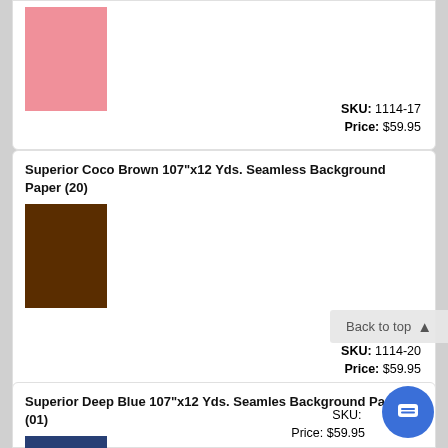[Figure (illustration): Pink color swatch square for background paper product]
SKU: 1114-17
Price: $59.95
Superior Coco Brown 107"x12 Yds. Seamless Background Paper (20)
[Figure (illustration): Coco brown/dark brown color swatch square for background paper product]
SKU: 1114-20
Price: $59.95
Superior Deep Blue 107"x12 Yds. Seamless Background Paper (01)
[Figure (illustration): Deep blue / navy color swatch square for background paper product]
SKU: 
Price: $59.95